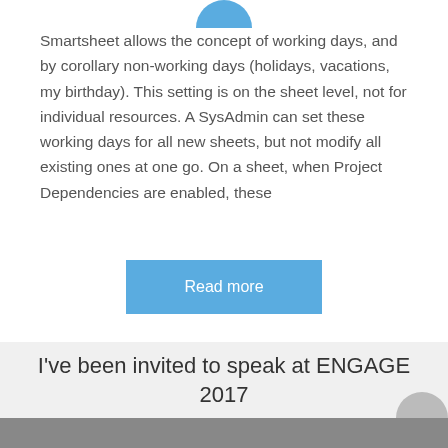[Figure (illustration): Partial blue circular avatar/profile image at top center]
Smartsheet allows the concept of working days, and by corollary non-working days (holidays, vacations, my birthday). This setting is on the sheet level, not for individual resources. A SysAdmin can set these working days for all new sheets, but not modify all existing ones at one go. On a sheet, when Project Dependencies are enabled, these
Read more
I've been invited to speak at ENGAGE 2017
[Figure (photo): Partial photo strip at the bottom of the page]